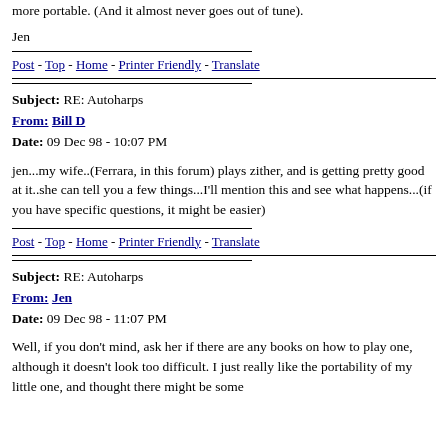more portable. (And it almost never goes out of tune).
Jen
Post - Top - Home - Printer Friendly - Translate
Subject: RE: Autoharps
From: Bill D
Date: 09 Dec 98 - 10:07 PM
jen...my wife..(Ferrara, in this forum) plays zither, and is getting pretty good at it..she can tell you a few things...I'll mention this and see what happens...(if you have specific questions, it might be easier)
Post - Top - Home - Printer Friendly - Translate
Subject: RE: Autoharps
From: Jen
Date: 09 Dec 98 - 11:07 PM
Well, if you don't mind, ask her if there are any books on how to play one, although it doesn't look too difficult. I just really like the portability of my little one, and thought there might be some